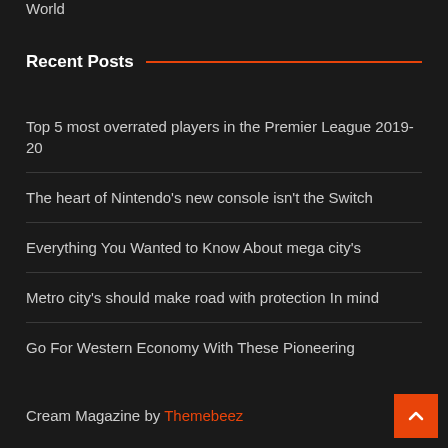World
Recent Posts
Top 5 most overrated players in the Premier League 2019-20
The heart of Nintendo's new console isn't the Switch
Everything You Wanted to Know About mega city's
Metro city's should make road with protection In mind
Go For Western Economy With These Pioneering
Cream Magazine by Themebeez